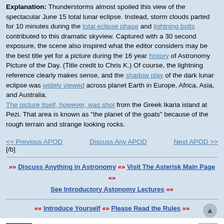Explanation: Thunderstorms almost spoiled this view of the spectacular June 15 total lunar eclipse. Instead, storm clouds parted for 10 minutes during the total eclipse phase and lightning bolts contributed to this dramatic skyview. Captured with a 30 second exposure, the scene also inspired what the editor considers may be the best title yet for a picture during the 16 year history of Astronomy Picture of the Day. (Title credit to Chris K.) Of course, the lightning reference clearly makes sense, and the shadow play of the dark lunar eclipse was widely viewed across planet Earth in Europe, Africa, Asia, and Australia. The picture itself, however, was shot from the Greek Ikaria island at Pezi. That area is known as "the planet of the goats" because of the rough terrain and strange looking rocks.
<< Previous APOD   Discuss Any APOD   Next APOD >>
[/b]
»» Discuss Anything in Astronomy «» Visit The Asterisk Main Page «» See Introductory Astonomy Lectures ««
«« Introduce Yourself «» Please Read the Rules »»
Beyond
500 Gigaderps
Re: APOD: Lightning Eclipse from the Planet of... (2011 Jun